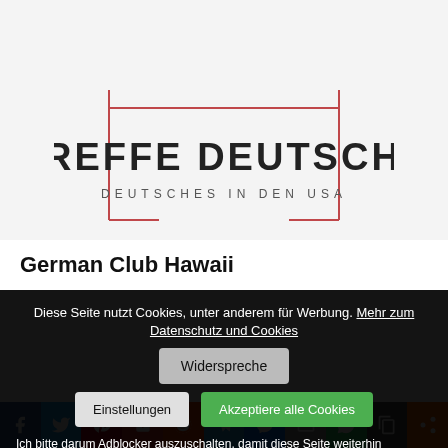[Figure (logo): Treffe Deutsche logo: large text 'TREFFE DEUTSCHE' with subtitle 'DEUTSCHES IN DEN USA' inside a partial red/pink rectangular border frame on light gray background]
German Club Hawaii
Diese Seite nutzt Cookies, unter anderem für Werbung. Mehr zum Datenschutz und Cookies
Widerspreche
Einstellungen
Akzeptiere alle Cookies
Ich bitte darum Adblocker auszuschalten, damit diese Seite weiterhin
[Figure (other): Social media sharing bar with icons for Facebook, Twitter, Pinterest, Flipboard, Reddit, Telegram, Messenger, Email, WhatsApp, Copy, Share]